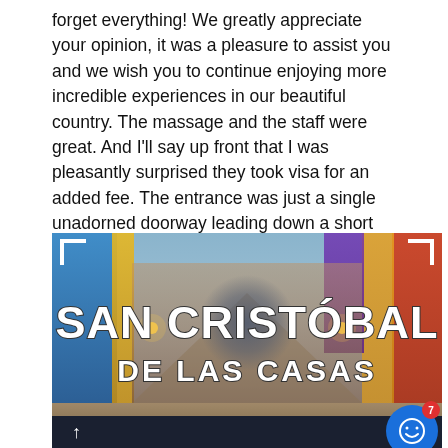forget everything! We greatly appreciate your opinion, it was a pleasure to assist you and we wish you to continue enjoying more incredible experiences in our beautiful country. The massage and the staff were great. And I'll say up front that I was pleasantly surprised they took visa for an added fee. The entrance was just a single unadorned doorway leading down a short hallway, but the lobby area inside, while small, was very nicely decorated and inviting.
[Figure (photo): Photo of a colorful street in San Cristóbal de las Casas, Mexico, with bright buildings in blue, yellow, red, and purple on either side of a cobblestone street. Large white hand-drawn style text overlaid reads 'SAN CRISTÓBAL' on top and 'DE LAS CASAS' below. Corner bracket decorations in white appear at the top corners. A dark bar at the bottom contains a white up arrow. A blue chat button with a smiley face icon and a red badge showing '7' is in the bottom right corner.]